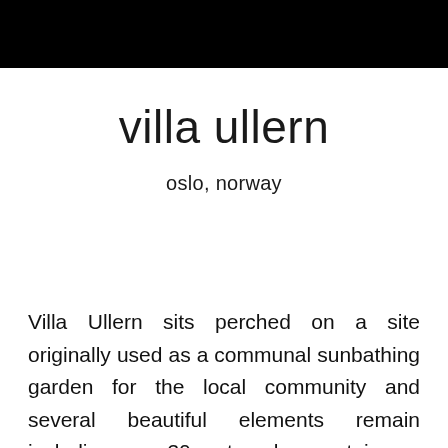[Figure (other): Black header bar spanning the full width of the page]
villa ullern
oslo, norway
Villa Ullern sits perched on a site originally used as a communal sunbathing garden for the local community and several beautiful elements remain including a 30-meter long staircase leading up to the top of the hill, a